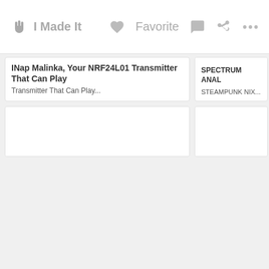I Made It   Favorite
[Figure (screenshot): White empty card image placeholder for INap Malinka project]
INap Malinka, Your NRF24L01 Transmitter That Can Play...
[Figure (screenshot): White empty card image placeholder for SPECTRUM ANALYSER STEAMPUNK NIX... project]
SPECTRUM ANAL... STEAMPUNK NIX...
[Figure (screenshot): White empty partial card at bottom left]
[Figure (screenshot): White empty partial card at bottom right]